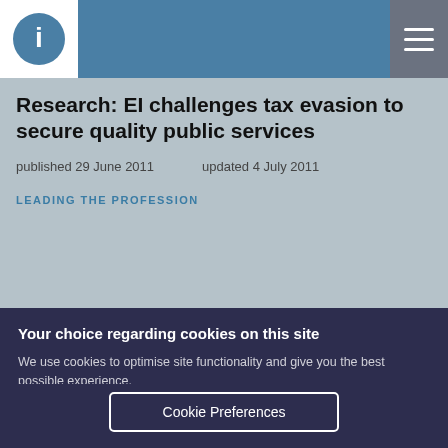EI logo and navigation header
Research: EI challenges tax evasion to secure quality public services
published 29 June 2011   updated 4 July 2011
LEADING THE PROFESSION
Your choice regarding cookies on this site
We use cookies to optimise site functionality and give you the best possible experience.
Accept | I Do Not Accept Cookies | Cookie Preferences